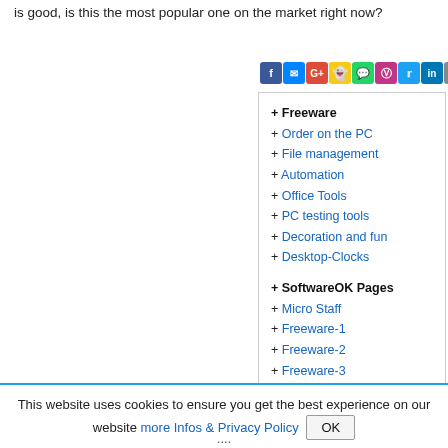is good, is this the most popular one on the market right now?
[Figure (other): Social media sharing icons bar: Facebook, Messenger, Google+, Snapchat, WhatsApp, Instagram, Twitter, LinkedIn, Print, Star/Bookmark]
+ Freeware
+ Order on the PC
+ File management
+ Automation
+ Office Tools
+ PC testing tools
+ Decoration and fun
+ Desktop-Clocks
+ SoftwareOK Pages
+ Micro Staff
+ Freeware-1
+ Freeware-2
+ Freeware-3
+ FAQ
+ Downloads
This website uses cookies to ensure you get the best experience on our website more Infos & Privacy Policy OK
....